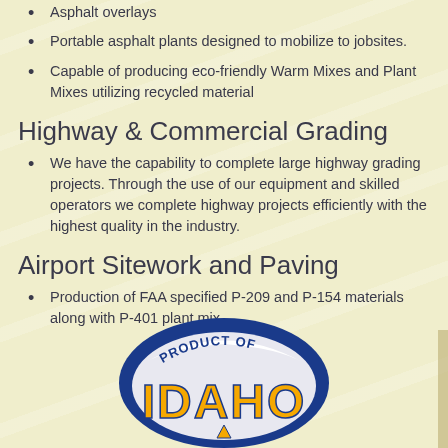Asphalt overlays
Portable asphalt plants designed to mobilize to jobsites.
Capable of producing eco-friendly Warm Mixes and Plant Mixes utilizing recycled material
Highway & Commercial Grading
We have the capability to complete large highway grading projects. Through the use of our equipment and skilled operators we complete highway projects efficiently with the highest quality in the industry.
Airport Sitework and Paving
Production of FAA specified P-209 and P-154 materials along with P-401 plant mix.
[Figure (logo): Product of Idaho logo — blue oval badge with yellow block letters spelling IDAHO, with a white banner reading PRODUCT OF arched above]